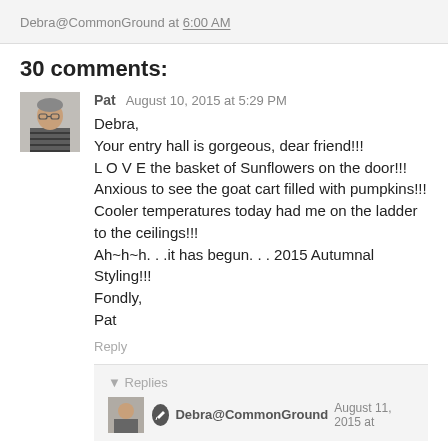Debra@CommonGround at 6:00 AM
30 comments:
[Figure (photo): Small avatar photo of a woman with glasses wearing a striped shirt]
Pat  August 10, 2015 at 5:29 PM
Debra,
Your entry hall is gorgeous, dear friend!!!
L O V E the basket of Sunflowers on the door!!!
Anxious to see the goat cart filled with pumpkins!!!
Cooler temperatures today had me on the ladder to the ceilings!!!
Ah~h~h. . .it has begun. . . 2015 Autumnal Styling!!!
Fondly,
Pat
Reply
Replies
Debra@CommonGround  August 11, 2015 at